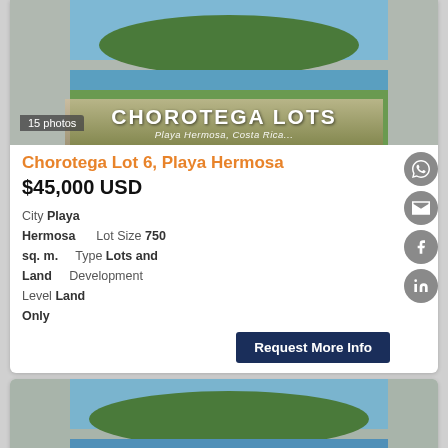[Figure (photo): Aerial view of Chorotega Lots, Playa Hermosa, Costa Rica - coastline and forest]
15 photos
Chorotega Lot 6, Playa Hermosa
$45,000 USD
City Playa Hermosa | Lot Size 750 sq. m. | Type Lots and Land | Development Level Land Only
Request More Info
[Figure (photo): Aerial view of Chorotega Lots, Playa Hermosa, Costa Rica - second listing]
19 photos